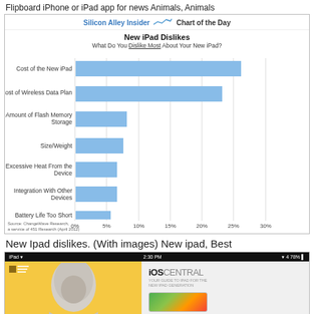Flipboard iPhone or iPad app for news Animals, Animals
[Figure (bar-chart): New iPad Dislikes]
New Ipad dislikes. (With images) New ipad, Best
[Figure (screenshot): Screenshot of an iPad showing a Flipboard-style news app with iOS Central on the right side and a person photo on the left against a yellow background]